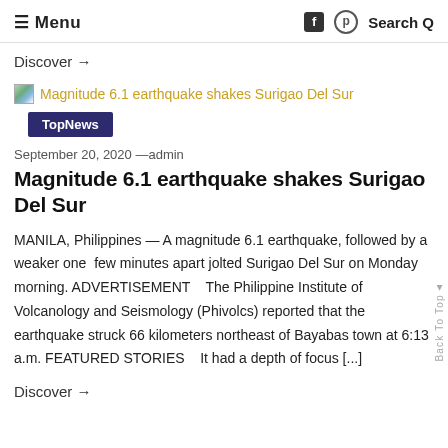≡ Menu  Search Q
Discover →
[Figure (illustration): Small broken image placeholder icon followed by golden link text: Magnitude 6.1 earthquake shakes Surigao Del Sur]
TopNews
September 20, 2020 —admin
Magnitude 6.1 earthquake shakes Surigao Del Sur
MANILA, Philippines — A magnitude 6.1 earthquake, followed by a weaker one  few minutes apart jolted Surigao Del Sur on Monday morning. ADVERTISEMENT   The Philippine Institute of Volcanology and Seismology (Phivolcs) reported that the earthquake struck 66 kilometers northeast of Bayabas town at 6:13 a.m. FEATURED STORIES   It had a depth of focus [...]
Discover →